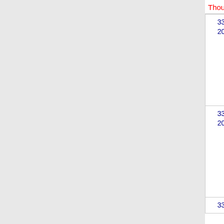Thousands block for 330-203
| Number | State | Company | Code |
| --- | --- | --- | --- |
| 330-203-0 | OH | T-MOBILE USA, INC. (T-Mobile US, Inc) | 65 |
| 330-203-1 | OH | BANDWIDTH.COM CLEC, LLC - OH | 00 |
| 330-203-? | OH | CELLCO PARTNERSHIP | 60 |